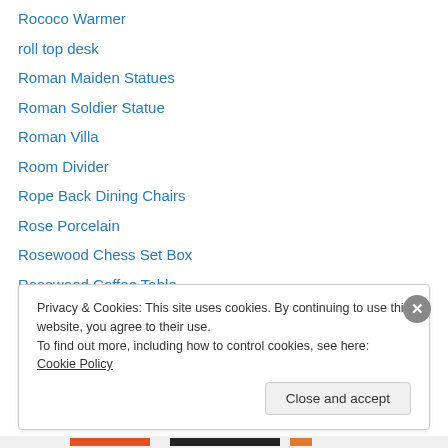Rococo Warmer
roll top desk
Roman Maiden Statues
Roman Soldier Statue
Roman Villa
Room Divider
Rope Back Dining Chairs
Rose Porcelain
Rosewood Chess Set Box
Rosewood Coffee Table
Rosewood Console Table
Rosewood Desk
Rosewood Furniture
Privacy & Cookies: This site uses cookies. By continuing to use this website, you agree to their use. To find out more, including how to control cookies, see here: Cookie Policy